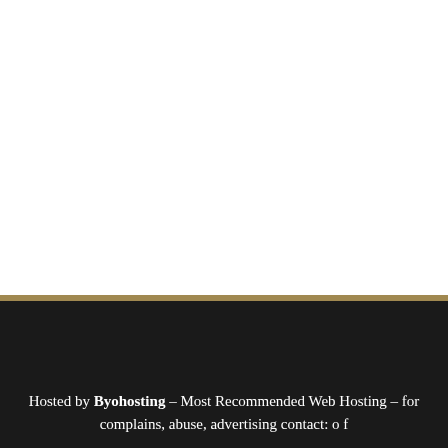Hosted by Byohosting – Most Recommended Web Hosting – for complains, abuse, advertising contact: o f